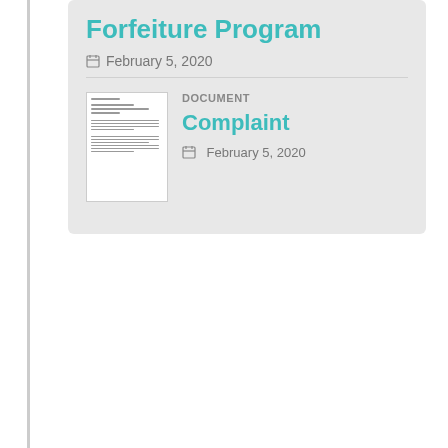Forfeiture Program
February 5, 2020
DOCUMENT
Complaint
February 5, 2020
[Figure (screenshot): Thumbnail image of a legal complaint document with several lines of text]